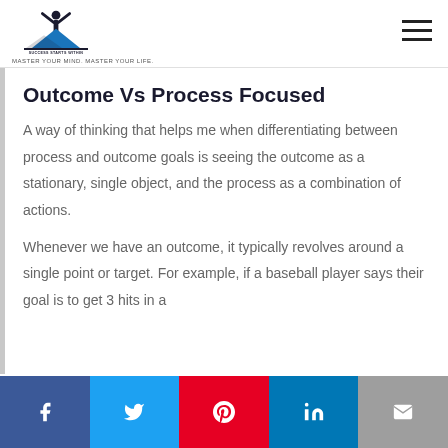SUCCESS STARTS WITHIN — MASTER YOUR MIND. MASTER YOUR LIFE.
Outcome Vs Process Focused
A way of thinking that helps me when differentiating between process and outcome goals is seeing the outcome as a stationary, single object, and the process as a combination of actions.
Whenever we have an outcome, it typically revolves around a single point or target. For example, if a baseball player says their goal is to get 3 hits in a
Social share buttons: Facebook, Twitter, Pinterest, LinkedIn, Email